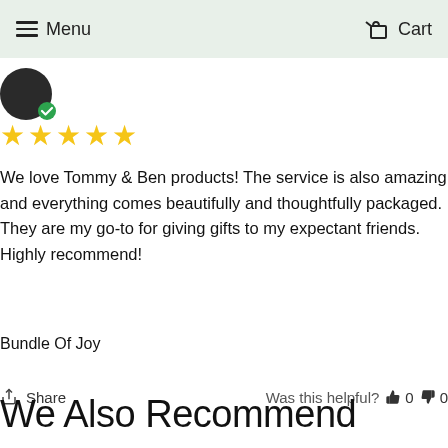Menu  Cart
[Figure (other): User avatar circle with verified badge checkmark]
★★★★★
We love Tommy & Ben products! The service is also amazing and everything comes beautifully and thoughtfully packaged. They are my go-to for giving gifts to my expectant friends. Highly recommend!
Bundle Of Joy
Share  Was this helpful?  👍 0  👎 0
We Also Recommend